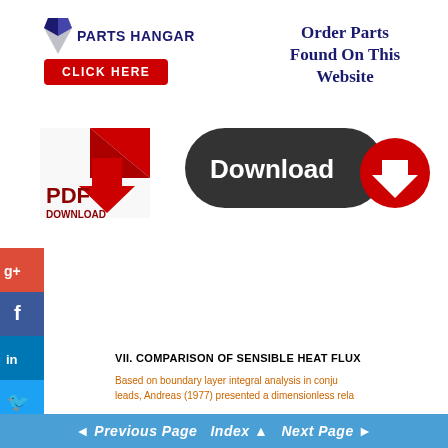[Figure (logo): Parts Hangar logo with blue stylized P icon, bold text 'PARTS HANGAR', red 'CLICK HERE' button below]
Order Parts Found On This Website
[Figure (illustration): PDF Download graphic with red folded paper and downward arrow]
[Figure (illustration): Dark rounded Download button with red circle and white downward arrow]
[Figure (illustration): Social media icons column: Google+, Facebook, LinkedIn, Twitter, Share, StumbleUpon]
VII. COMPARISON OF SENSIBLE HEAT FLUX
Based on boundary layer integral analysis in conju leads, Andreas (1977) presented a dimensionless rela
◄ Previous Page  Index ▲  Next Page ►